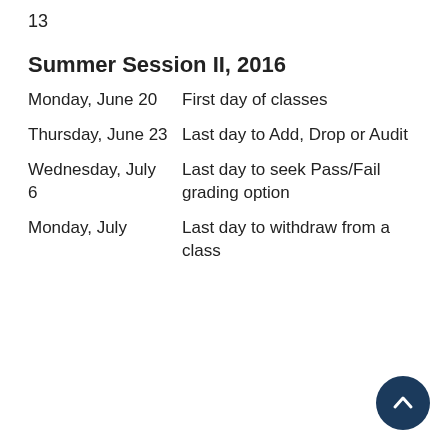13
Summer Session II, 2016
| Date | Event |
| --- | --- |
| Monday, June 20 | First day of classes |
| Thursday, June 23 | Last day to Add, Drop or Audit |
| Wednesday, July 6 | Last day to seek Pass/Fail grading option |
| Monday, July | Last day to withdraw from a class |